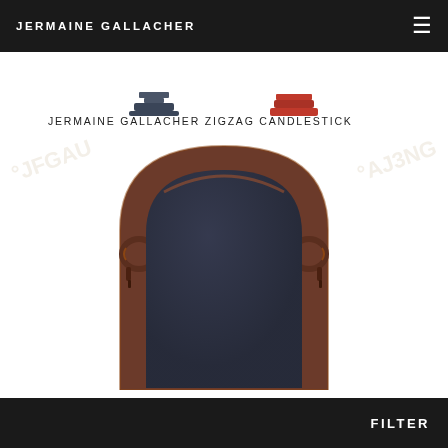JERMAINE GALLACHER
[Figure (photo): Partial view of two decorative products (candlesticks) shown at top of page, partially cropped]
JERMAINE GALLACHER ZIGZAG CANDLESTICK
[Figure (photo): Large ornate mirror with a dark reflective glass panel and a decorative carved wooden frame in dark reddish-brown, with arch top and scroll decorations on the sides]
FILTER